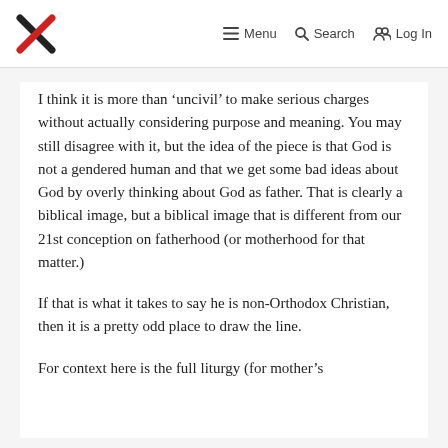Menu  Search  Log In
I think it is more than ‘uncivil’ to make serious charges without actually considering purpose and meaning. You may still disagree with it, but the idea of the piece is that God is not a gendered human and that we get some bad ideas about God by overly thinking about God as father. That is clearly a biblical image, but a biblical image that is different from our 21st conception on fatherhood (or motherhood for that matter.)
If that is what it takes to say he is non-Orthodox Christian, then it is a pretty odd place to draw the line.
For context here is the full liturgy (for mother’s